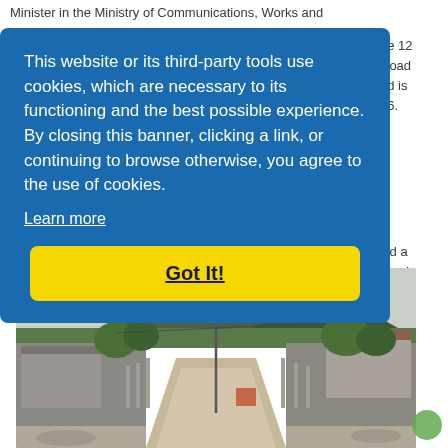Minister in the Ministry of Communications, Works and
[Figure (infographic): Cookie consent banner overlay on a government website. Blue background banner with white text reading: 'This website or its third-party tools use cookies, which are necessary to its functioning and the best possible experience. By closing this banner, clicking a link, or continuing to browse otherwise, you agree to the use of cookies.' with a 'Learn more' underlined link and a yellow 'Got It!' button.]
ne 12 Road nd is 16.
red a sland
EC$8 Works
[Figure (photo): Photograph of a road construction project on a Caribbean island. Shows a dirt/gravel road under construction with concrete block walls on either side, utility poles with power lines, green trees, and a large green volcanic mountain with cloud cover in the background. Buildings visible on left and right sides of the road. Red construction machinery visible in the background.]